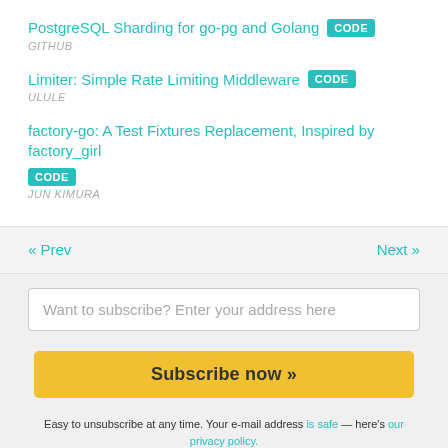PostgreSQL Sharding for go-pg and Golang [CODE] GITHUB
Limiter: Simple Rate Limiting Middleware [CODE] ULULE
factory-go: A Test Fixtures Replacement, Inspired by factory_girl [CODE] JUN KIMURA
« Prev   Next »
Want to subscribe? Enter your address here
Subscribe now »
Easy to unsubscribe at any time. Your e-mail address is safe — here's our privacy policy.